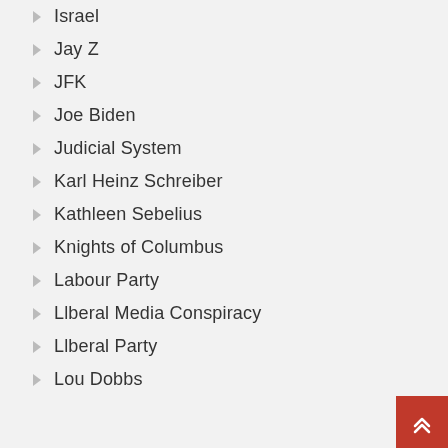Israel
Jay Z
JFK
Joe Biden
Judicial System
Karl Heinz Schreiber
Kathleen Sebelius
Knights of Columbus
Labour Party
Llberal Media Conspiracy
Llberal Party
Lou Dobbs